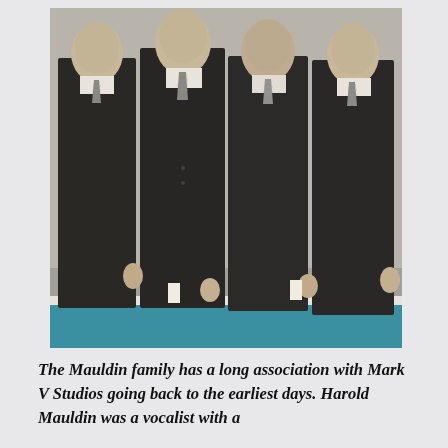[Figure (photo): Black and white photograph of four men in dark suits and ties standing side by side. A teal/blue decorative band runs across the bottom of the photograph.]
The Mauldin family has a long association with Mark V Studios going back to the earliest days. Harold Mauldin was a vocalist with a